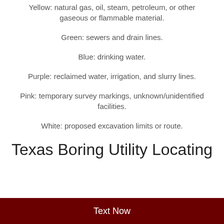Yellow: natural gas, oil, steam, petroleum, or other gaseous or flammable material.
Green: sewers and drain lines.
Blue: drinking water.
Purple: reclaimed water, irrigation, and slurry lines.
Pink: temporary survey markings, unknown/unidentified facilities.
White: proposed excavation limits or route.
Texas Boring Utility Locating
Text Now